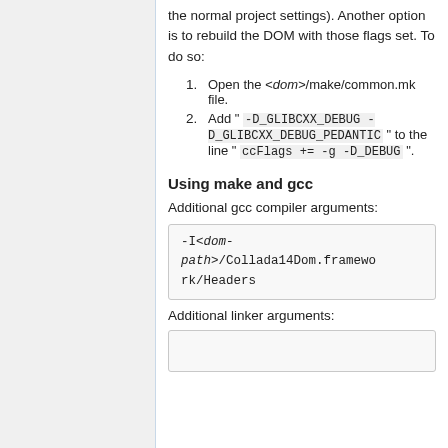the normal project settings). Another option is to rebuild the DOM with those flags set. To do so:
1. Open the <dom>/make/common.mk file.
2. Add " -D_GLIBCXX_DEBUG -D_GLIBCXX_DEBUG_PEDANTIC " to the line " ccFlags += -g -D_DEBUG ".
Using make and gcc
Additional gcc compiler arguments:
[Figure (other): Code box showing: -I<dom-path>/Collada14Dom.framework/Headers]
Additional linker arguments:
[Figure (other): Partial code box (cut off at bottom of page)]